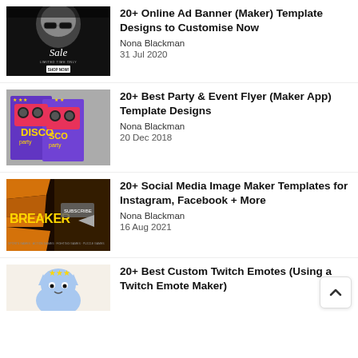[Figure (photo): Black and white fashion photo with 'Sale Limited Time Only Shop Now' ad banner overlay]
20+ Online Ad Banner (Maker) Template Designs to Customise Now
Nona Blackman
31 Jul 2020
[Figure (photo): Purple disco party flyer with boomboxes and 'Disco Party' text]
20+ Best Party & Event Flyer (Maker App) Template Designs
Nona Blackman
20 Dec 2018
[Figure (photo): Dark gaming/social media image with 'BREAKER' text and subscribe button]
20+ Social Media Image Maker Templates for Instagram, Facebook + More
Nona Blackman
16 Aug 2021
[Figure (illustration): Cartoon cat with stars illustration on light background (partially visible)]
20+ Best Custom Twitch Emotes (Using a Twitch Emote Maker)